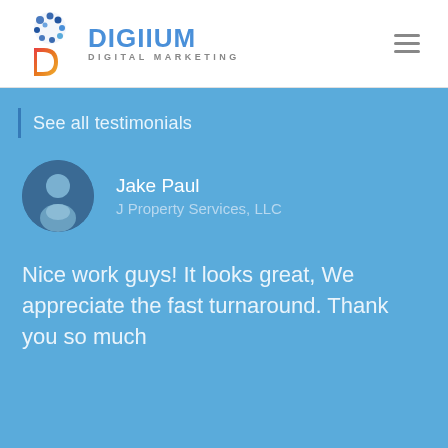[Figure (logo): Digiium Digital Marketing logo with brain/social icons and stylized D lettermark]
See all testimonials
Jake Paul
J Property Services, LLC
Nice work guys! It looks great, We appreciate the fast turnaround. Thank you so much